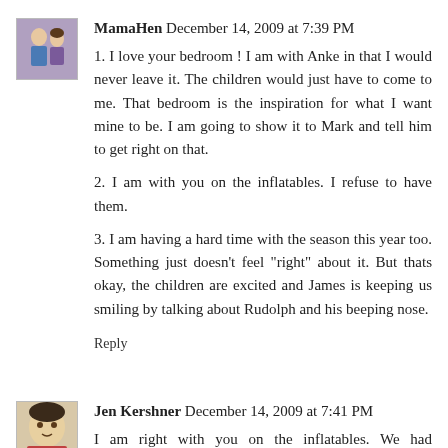[Figure (photo): Avatar photo of MamaHen showing a couple]
MamaHen December 14, 2009 at 7:39 PM
1. I love your bedroom ! I am with Anke in that I would never leave it. The children would just have to come to me. That bedroom is the inspiration for what I want mine to be. I am going to show it to Mark and tell him to get right on that.
2. I am with you on the inflatables. I refuse to have them.
3. I am having a hard time with the season this year too. Something just doesn't feel "right" about it. But thats okay, the children are excited and James is keeping us smiling by talking about Rudolph and his beeping nose.
Reply
[Figure (photo): Avatar photo of Jen Kershner]
Jen Kershner December 14, 2009 at 7:41 PM
I am right with you on the inflatables. We had neighbors that lived 2 doors down that had a giant (aren't they all giant?) inflatable grinch. Every year I would threaten to go